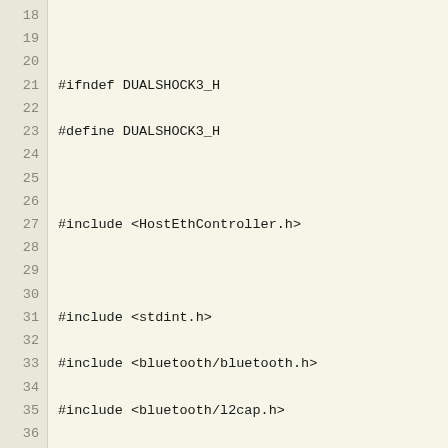[Figure (screenshot): Source code editor view showing C++ header file with lines 18-40. Lines include preprocessor guards (#ifndef DUALSHOCK3_H, #define DUALSHOCK3_H), includes (HostEthController.h, stdint.h, bluetooth/bluetooth.h, bluetooth/l2cap.h, usb.h), namespace declarations (flair::core::FrameworkManager, flair::gui::SpinBox, Label, CheckBox), and a struct declaration (struct motion_dev).]